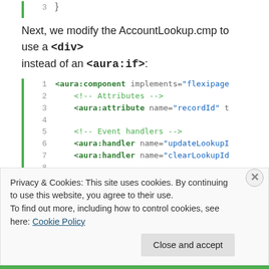[Figure (screenshot): Code snippet showing line 3 with closing brace in monospace font with green line bar]
Next, we modify the AccountLookup.cmp to use a <div> instead of an <aura:if>:
[Figure (screenshot): Code block showing lines 1-11 of AccountLookup.cmp with aura:component, aura:attribute, aura:handler, and c:LookupSObject elements]
Privacy & Cookies: This site uses cookies. By continuing to use this website, you agree to their use. To find out more, including how to control cookies, see here: Cookie Policy